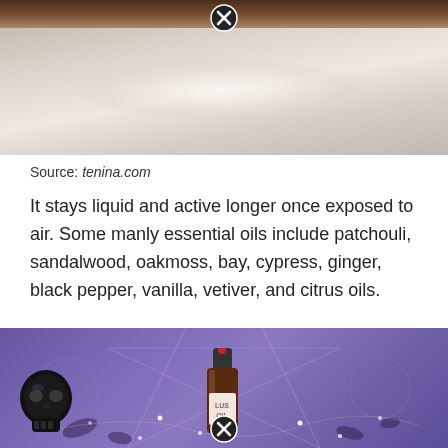[Figure (photo): Close-up photo of a white/cream colored surface with blurred background, partially cropped. Has a close (X) button overlay at top center.]
Source: tenina.com
It stays liquid and active longer once exposed to air. Some manly essential oils include patchouli, sandalwood, oakmoss, bay, cypress, ginger, black pepper, vanilla, vetiver, and citrus oils.
[Figure (photo): Photo of a small brown dropper bottle labeled 'LUST OIL' placed on a purple decorative cloth with pentagram/star design. A black crystal skull and fairy lights visible nearby. Has a close (X) button overlay at bottom center.]